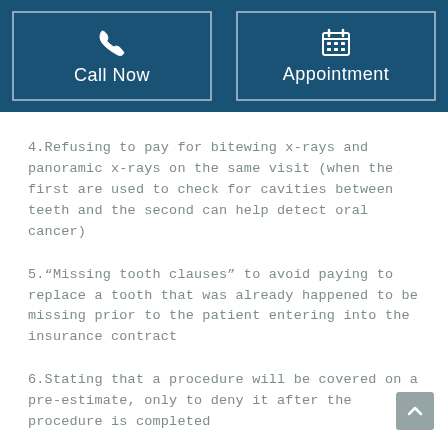[Figure (infographic): Header bar with two buttons: 'Call Now' with phone icon and 'Appointment' with calendar icon, both on dark blue background with white border outlines]
4.Refusing to pay for bitewing x-rays and panoramic x-rays on the same visit (when the first are used to check for cavities between teeth and the second can help detect oral cancer)
5.“Missing tooth clauses” to avoid paying to replace a tooth that was already happened to be missing prior to the patient entering into the insurance contract
6.Stating that a procedure will be covered on a pre-estimate, only to deny it after the procedure is completed
7.Denying payment for treatment done by out-of-network dentists, and forcing patients